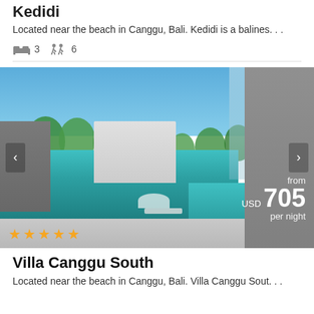Kedidi
Located near the beach in Canggu, Bali. Kedidi is a balines...
🛏 3  🚶 6
[Figure (photo): Luxury villa with swimming pool surrounded by trees and modern architecture in Canggu, Bali. Price overlay shows 'from USD 705 per night'. Four and a half star rating visible at bottom left.]
Villa Canggu South
Located near the beach in Canggu, Bali. Villa Canggu Sout...